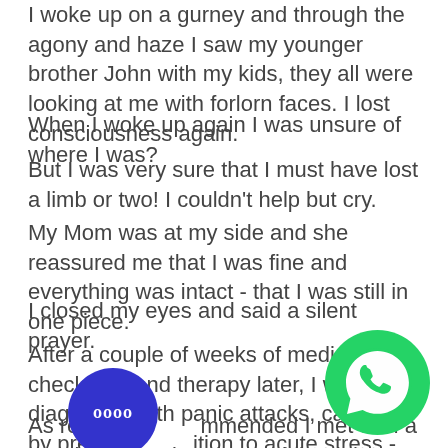I woke up on a gurney and through the agony and haze I saw my younger brother John with my kids, they all were looking at me with forlorn faces. I lost consciousness again.
When I woke up again I was unsure of where I was?
But I was very sure that I must have lost a limb or two! I couldn't help but cry.
My Mom was at my side and she reassured me that I was fine and everything was intact - that I was still in one piece.
I closed my eyes and said a silent prayer.
After a couple of weeks of medical check-ups and therapy later, I was diagnosed with panic attacks, caused by predisposition to acute stress - partly from genetics
As recommended I met with a special Therapist who explained that the physical symptoms I had experienced
[Figure (illustration): Blue circle overlay with emoji/icon characters in white text]
[Figure (logo): WhatsApp green chat bubble logo]